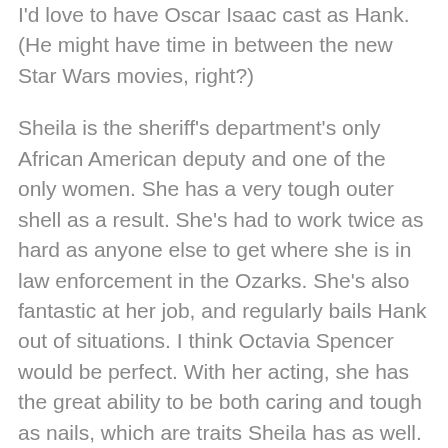I'd love to have Oscar Isaac cast as Hank. (He might have time in between the new Star Wars movies, right?)
Sheila is the sheriff's department's only African American deputy and one of the only women. She has a very tough outer shell as a result. She's had to work twice as hard as anyone else to get where she is in law enforcement in the Ozarks. She's also fantastic at her job, and regularly bails Hank out of situations. I think Octavia Spencer would be perfect. With her acting, she has the great ability to be both caring and tough as nails, which are traits Sheila has as well.
Sam, whom Hank has nicknamed "The Pup," is a young, eager deputy who's often assigned to help with Hank's investigations. His physique – tall and lanky – is key to his character, so the actor who I'd dream cast needs to be the same. Logan Lerman from the Percy Jackson movies and The Perks of Being a Wallflower would fit the